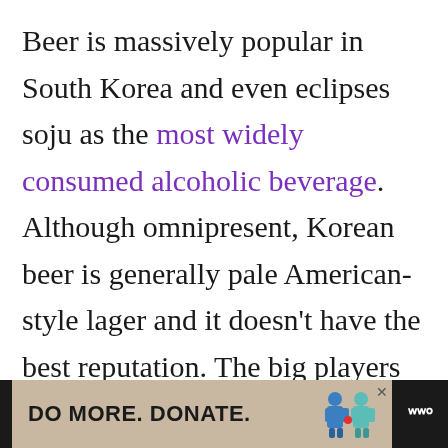Beer is massively popular in South Korea and even eclipses soju as the most widely consumed alcoholic beverage. Although omnipresent, Korean beer is generally pale American-style lager and it doesn't have the best reputation. The big players are mostly bland and watery, but they're certainly refreshing much
[Figure (other): Advertisement banner at the bottom of the page with dark background. White bold text reads 'DO MORE. DONATE.' on a tan/beige background, with an illustration of two figures and a close (x) button. Right side shows audio/speaker icon on dark background.]